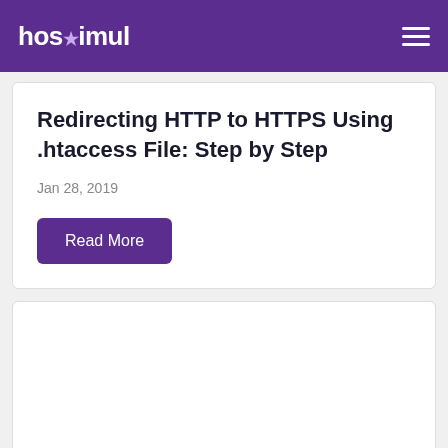hostimul
Redirecting HTTP to HTTPS Using .htaccess File: Step by Step
Jan 28, 2019
Read More